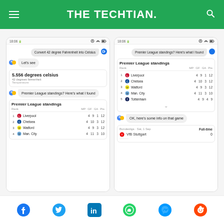THE TECHTIAN.
[Figure (screenshot): Google Assistant screenshot showing Convert 42 degree Fahrenheit into Celsius query, result 5.556 degrees celsius, and Premier League standings table with Liverpool, Chelsea, Watford, Man. City]
[Figure (screenshot): Google Assistant screenshot showing Premier League standings with Liverpool, Chelsea, Watford, Man. City, Tottenham and Bundesliga match result for VfB Stuttgart]
Social share icons: Facebook, Twitter, LinkedIn, WhatsApp, Messenger, Reddit